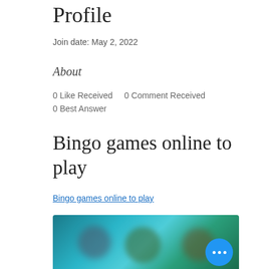Profile
Join date: May 2, 2022
About
0 Like Received   0 Comment Received
0 Best Answer
Bingo games online to play
Bingo games online to play
[Figure (photo): Blurred image of bingo game online with colorful characters, teal/green background. A blue circular button with three white dots (more options) overlay in the bottom right.]